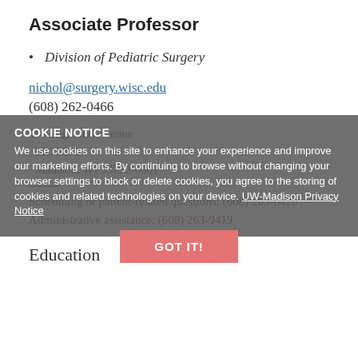Associate Professor
Division of Pediatric Surgery
nichol@surgery.wisc.edu
(608) 262-0466
600 Highland Avenue
MC 7375
Madison, WI 53792-0001
Scheduling or patient-related questions: (608) 263-6420
Administrative assistance: (608) 263-9419
COOKIE NOTICE
We use cookies on this site to enhance your experience and improve our marketing efforts. By continuing to browse without changing your browser settings to block or delete cookies, you agree to the storing of cookies and related technologies on your device. UW-Madison Privacy Notice
GOT IT!
Education